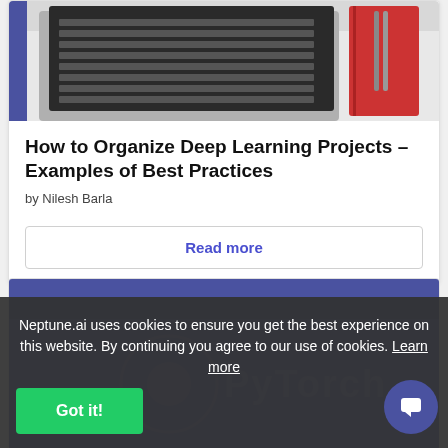[Figure (photo): Laptop keyboard and red notebook on white desk, top-down view]
How to Organize Deep Learning Projects – Examples of Best Practices
by Nilesh Barla
Read more
[Figure (screenshot): Second article card with blue/purple header area and PyTorch logo watermark]
Neptune.ai uses cookies to ensure you get the best experience on this website. By continuing you agree to our use of cookies. Learn more
Got it!